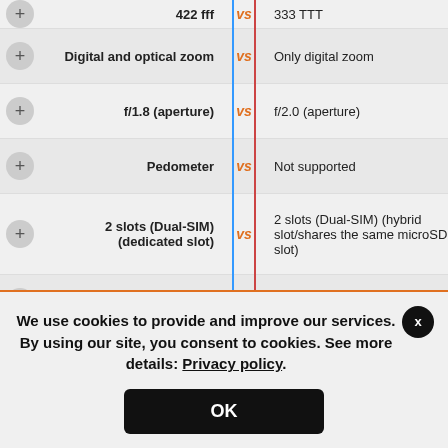| Feature (Left) | VS | Feature (Right) |
| --- | --- | --- |
| Digital and optical zoom | vs | Only digital zoom |
| f/1.8 (aperture) | vs | f/2.0 (aperture) |
| Pedometer | vs | Not supported |
| 2 slots (Dual-SIM) (dedicated slot) | vs | 2 slots (Dual-SIM) (hybrid slot/shares the same microSD slot) |
| 3.5mm jack | vs | Type-C reversible connector |
| FM | vs | Not supported |
We use cookies to provide and improve our services. By using our site, you consent to cookies. See more details: Privacy policy.